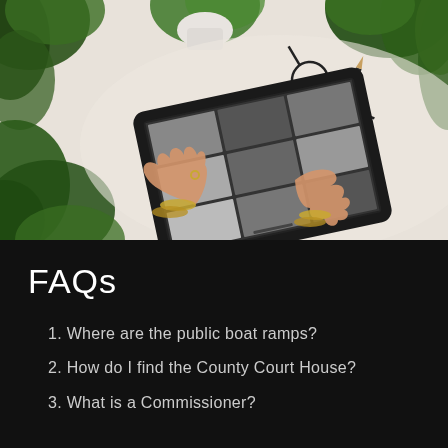[Figure (photo): Overhead view of a woman's hands operating a tablet (Samsung) on a white desk surface, surrounded by green potted plants, glasses, and a pencil.]
FAQs
1. Where are the public boat ramps?
2. How do I find the County Court House?
3. What is a Commissioner?